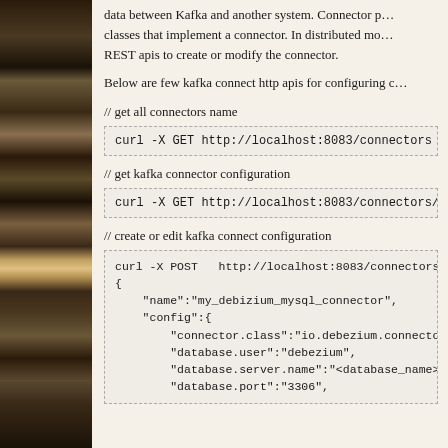data between Kafka and another system. Connector plugins are JAR files containing the classes that implement a connector. In distributed mode, you use Kafka Connect REST apis to create or modify the connector.
Below are few kafka connect http apis for configuring connectors:
// get all connectors name
curl -X GET http://localhost:8083/connectors
// get kafka connector configuration
curl -X GET http://localhost:8083/connectors/my_connector
// create or edit kafka connect configuration
curl -X POST   http://localhost:8083/connectors -d
{
    "name":"my_debizium_mysql_connector",
    "config":{
        "connector.class":"io.debezium.connector.mysql
        "database.user":"debezium",
        "database.server.name":"<database_name>",
        "database.port":"3306",